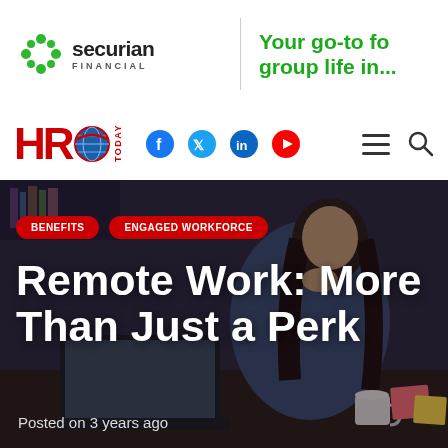[Figure (logo): Securian Financial logo with green cross/snowflake icon and bold text 'securian FINANCIAL']
Your go-to for group life in...
[Figure (logo): HRO Today logo with globe and red HR text, TODAY text vertical]
[Figure (screenshot): Navigation bar with social media icons: Facebook, Twitter, LinkedIn, YouTube, hamburger menu, and search icon]
[Figure (photo): Woman sitting at a desk working on a laptop, talking on the phone, with coffee cup and sticky notes, dark moody background]
BENEFITS
ENGAGED WORKFORCE
Remote Work: More Than Just a Perk
Posted on 3 years ago